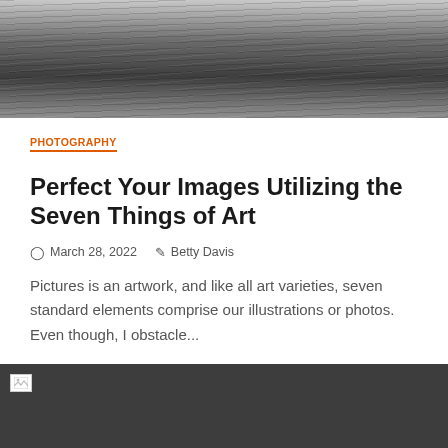[Figure (photo): Black and white close-up of wood grain texture, dark tones]
PHOTOGRAPHY
Perfect Your Images Utilizing the Seven Things of Art
March 28, 2022   Betty Davis
Pictures is an artwork, and like all art varieties, seven standard elements comprise our illustrations or photos. Even though, I obstacle...
[Figure (photo): Dark gray/charcoal image area with broken image icon at top left and orange scroll-to-top button at bottom right]